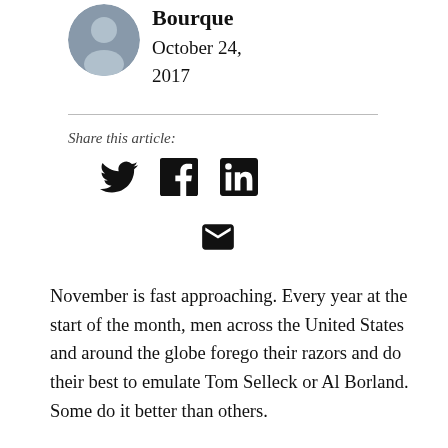Bourque
October 24, 2017
Share this article:
[Figure (other): Social media share icons: Twitter bird, Facebook circle f, LinkedIn square in, and email envelope]
November is fast approaching. Every year at the start of the month, men across the United States and around the globe forego their razors and do their best to emulate Tom Selleck or Al Borland. Some do it better than others.
Driving the movement are Movember—a charitable foundation devoted to men's health issues like